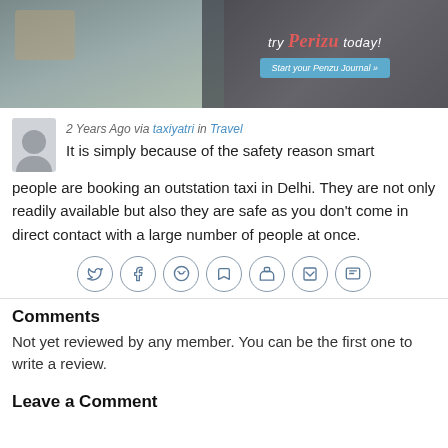[Figure (screenshot): Banner advertisement for Penzu journal with a desk/workspace photo background, red Penzu logo text, and a blue 'Start your Penzu Journal' button]
2 Years Ago via taxiyatri in Travel
It is simply because of the safety reason smart people are booking an outstation taxi in Delhi. They are not only readily available but also they are safe as you don't come in direct contact with a large number of people at once.
[Figure (infographic): Social share icons row: Twitter, Facebook, Reddit, Tumblr, LinkedIn, Print, Save — each in a circular outline button]
Comments
Not yet reviewed by any member. You can be the first one to write a review.
Leave a Comment